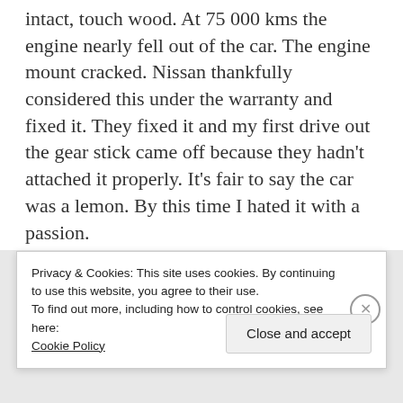intact, touch wood. At 75 000 kms the engine nearly fell out of the car. The engine mount cracked. Nissan thankfully considered this under the warranty and fixed it. They fixed it and my first drive out the gear stick came off because they hadn't attached it properly. It's fair to say the car was a lemon. By this time I hated it with a passion.
The point is that when you achieve something like buying a car things...
Privacy & Cookies: This site uses cookies. By continuing to use this website, you agree to their use.
To find out more, including how to control cookies, see here:
Cookie Policy
Close and accept